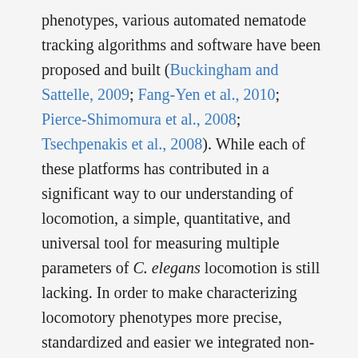phenotypes, various automated nematode tracking algorithms and software have been proposed and built (Buckingham and Sattelle, 2009; Fang-Yen et al., 2010; Pierce-Shimomura et al., 2008; Tsechpenakis et al., 2008). While each of these platforms has contributed in a significant way to our understanding of locomotion, a simple, quantitative, and universal tool for measuring multiple parameters of C. elegans locomotion is still lacking. In order to make characterizing locomotory phenotypes more precise, standardized and easier we integrated non-invasive video microscopy, MATLAB-based image analysis algorithms, and fluid mechanics principles into a Biomechanical Profiling Platform (BMP) to quantify C. elegans locomotion (Figure 1). Using BMP we can quantify 18 distinct features that describe C. elegans body shape, swimming patterns (kinematics) and tissue material properties (biomechanics) (Figure 2). In many cases, standard assays of motility are insufficient to describe motility defects, whereas multi-